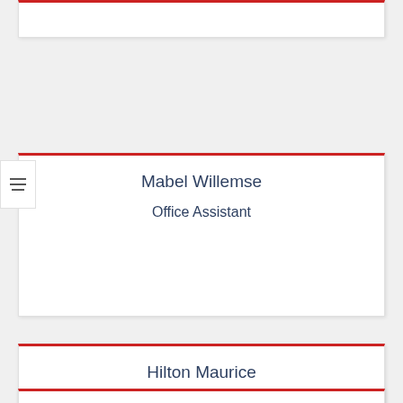Mabel Willemse
Office Assistant
Hilton Maurice
Distribution Officer